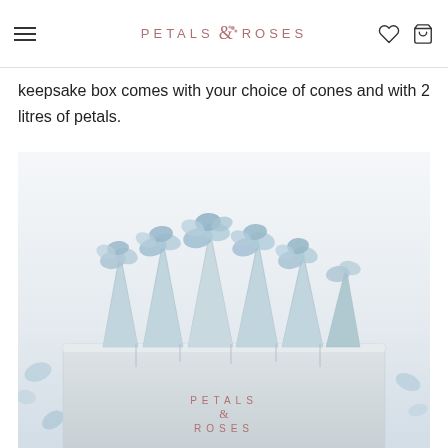PETALS & ROSES
keepsake box comes with your choice of cones and with 2 litres of petals.
[Figure (photo): Product photo showing light blue paper cones filled with blue hydrangea petals, arranged in a white Petals & Roses branded keepsake box. Several loose petals are scattered around the box on a white background.]